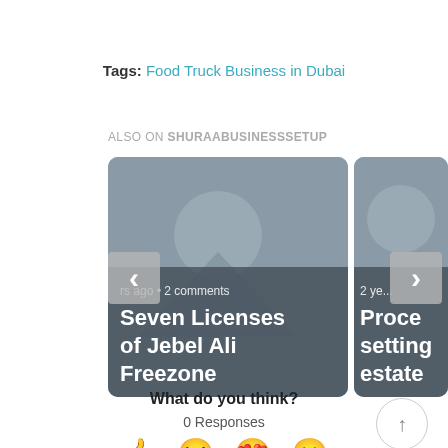Tags: Food Truck Business in Dubai
ALSO ON SHURAABUSINESSSETUP
[Figure (screenshot): Carousel showing two article cards. Card 1: 'Seven Licenses of Jebel Ali Freezone' with text 'rs ago • 2 comments'. Card 2: partially visible card with '2 ye...' and 'Proce... setting... estate'.]
What do you think?
0 Responses
[Figure (illustration): Row of emoji reaction icons: thumbs up, laughing/squinting face, heart eyes, and surprised face.]